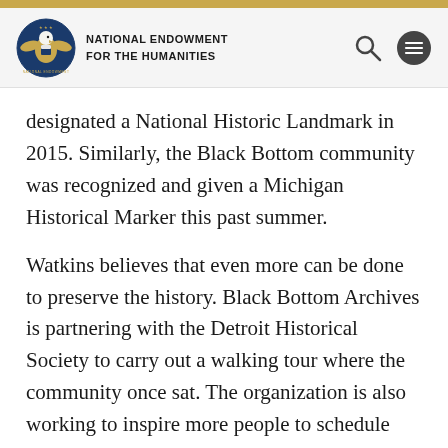[Figure (logo): National Endowment for the Humanities logo with eagle seal and organization name, plus search and menu icons in navigation bar]
designated a National Historic Landmark in 2015. Similarly, the Black Bottom community was recognized and given a Michigan Historical Marker this past summer.
Watkins believes that even more can be done to preserve the history. Black Bottom Archives is partnering with the Detroit Historical Society to carry out a walking tour where the community once sat. The organization is also working to inspire more people to schedule oral history interviews with the archive.